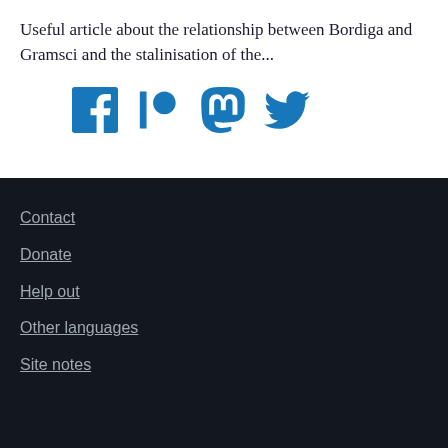Useful article about the relationship between Bordiga and Gramsci and the stalinisation of the...
[Figure (illustration): Row of four social media icons in blue: Facebook, Patreon, Mastodon, Twitter]
Contact
Donate
Help out
Other languages
Site notes